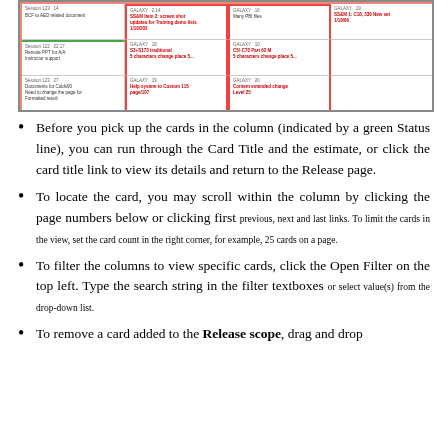[Figure (screenshot): Screenshot of a kanban-style release board showing cards arranged in columns with red-bordered columns highlighting selected cards. Multiple rows of cards are visible with small text labels and titles.]
Before you pick up the cards in the column (indicated by a green Status line), you can run through the Card Title and the estimate, or click the card title link to view its details and return to the Release page.
To locate the card, you may scroll within the column by clicking the page numbers below or clicking first previous, next and last links. To limit the cards in the view, set the card count in the right corner, for example, 25 cards on a page.
To filter the columns to view specific cards, click the Open Filter on the top left. Type the search string in the filter textboxes or select value(s) from the drop-down list.
To remove a card added to the Release scope, drag and drop